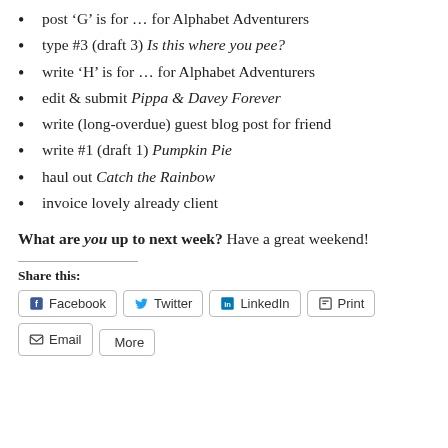post ‘G’ is for … for Alphabet Adventurers
type #3 (draft 3) Is this where you pee?
write ‘H’ is for … for Alphabet Adventurers
edit & submit Pippa & Davey Forever
write (long-overdue) guest blog post for friend
write #1 (draft 1) Pumpkin Pie
haul out Catch the Rainbow
invoice lovely already client
What are you up to next week? Have a great weekend!
Share this:
Facebook Twitter LinkedIn Print Email More